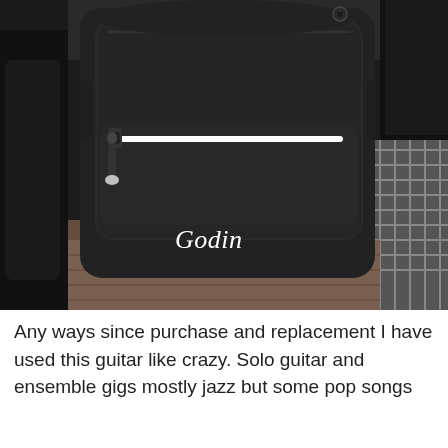[Figure (photo): A black Godin guitar gig bag/case photographed from the front. The bag is black fabric with a large main compartment and a smaller front pocket with a white zipper. The Godin brand name is written in white cursive script near the bottom of the bag. The bag is photographed on a wooden floor with dark items visible in the background.]
Any ways since purchase and replacement I have used this guitar like crazy. Solo guitar and ensemble gigs mostly jazz but some pop songs